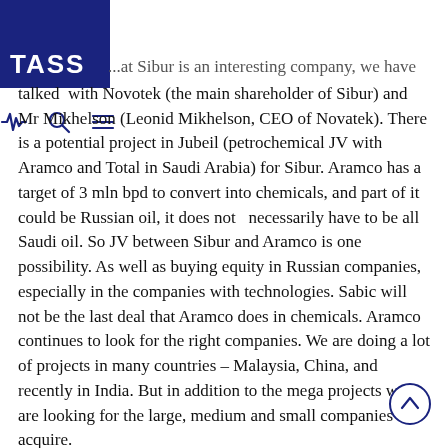TASS
...at Sibur is an interesting company, we have talked with Novotek (the main shareholder of Sibur) and Mr Mikhelson (Leonid Mikhelson, CEO of Novatek). There is a potential project in Jubeil (petrochemical JV with Aramco and Total in Saudi Arabia) for Sibur. Aramco has a target of 3 mln bpd to convert into chemicals, and part of it could be Russian oil, it does not necessarily have to be all Saudi oil. So JV between Sibur and Aramco is one possibility. As well as buying equity in Russian companies, especially in the companies with technologies. Sabic will not be the last deal that Aramco does in chemicals. Aramco continues to look for the right companies. We are doing a lot of projects in many countries – Malaysia, China, and recently in India. But in addition to the mega projects we are looking for the large, medium and small companies to acquire.